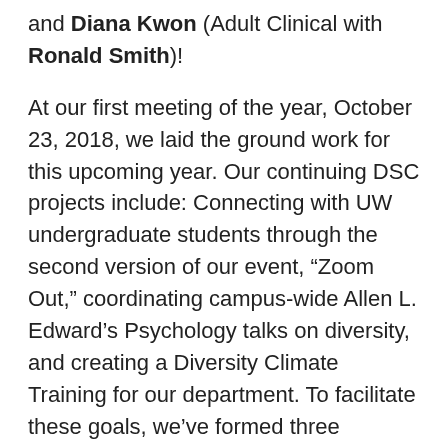and Diana Kwon (Adult Clinical with Ronald Smith)!
At our first meeting of the year, October 23, 2018, we laid the ground work for this upcoming year. Our continuing DSC projects include: Connecting with UW undergraduate students through the second version of our event, “Zoom Out,” coordinating campus-wide Allen L. Edward’s Psychology talks on diversity, and creating a Diversity Climate Training for our department. To facilitate these goals, we’ve formed three subcommittees that met mid-November to begin researching and planning their respective events. You can look forward to hearing updates about these projects as the year progresses!
We also surveyed students in the department about